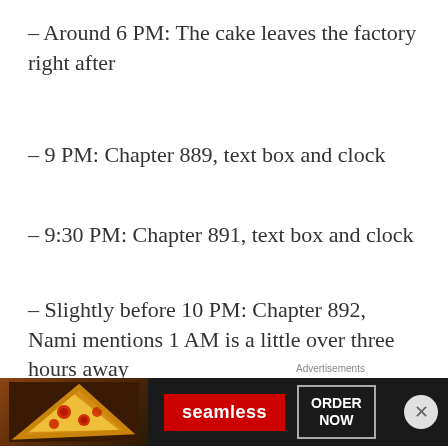– Around 6 PM: The cake leaves the factory right after
– 9 PM: Chapter 889, text box and clock
– 9:30 PM: Chapter 891, text box and clock
– Slightly before 10 PM: Chapter 892, Nami mentions 1 AM is a little over three hours away
– 9:50 PM: Chapter 892, Clock
Advertisements
[Figure (other): Seamless food delivery advertisement banner showing pizza image on left, red Seamless logo button in center, and ORDER NOW button on right with dark background]